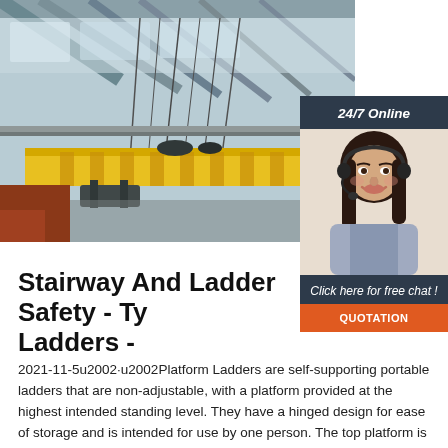[Figure (photo): Industrial overhead crane in a warehouse/factory ceiling setting, showing yellow crane beam with cables and hooks against a steel roof structure]
[Figure (photo): Customer service representative woman with headset smiling, with 24/7 Online header and chat widget overlay]
Stairway And Ladder Safety - Types Of Ladders -
2021-11-5u2002·u2002Platform Ladders are self-supporting portable ladders that are non-adjustable, with a platform provided at the highest intended standing level. They have a hinged design for ease of storage and is intended for use by one person. The top platform is surrounded on three sides by a railing that is at least 29 in. high, which acts the platform surface for ...